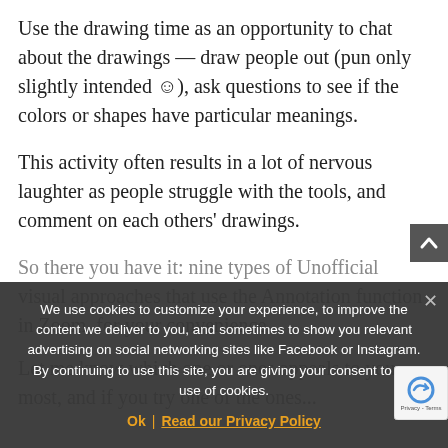Use the drawing time as an opportunity to chat about the drawings — draw people out (pun only slightly intended ☺), ask questions to see if the colors or shapes have particular meanings.
This activity often results in a lot of nervous laughter as people struggle with the tools, and comment on each others' drawings.
So there you have it: nine types of Unofficial visual approaches that use the Annotation function in Zoom, for your convenience.
Let me know which one or ones appeals to you most, and if you try one of the ones...
We use cookies to customize your experience, to improve the content we deliver to you, and sometimes to show you relevant advertising on social networking sites like Facebook or Instagram. By continuing to use this site, you are giving your consent to our use of cookies.